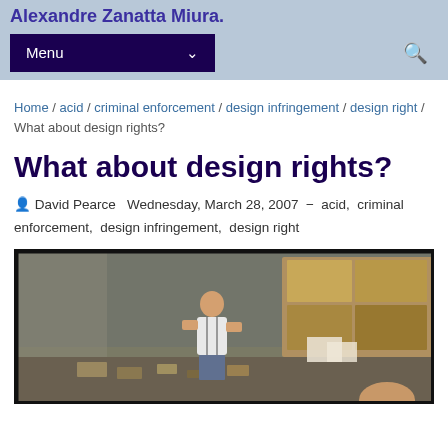Alexandre Zanatta Miura.
Menu
Home / acid / criminal enforcement / design infringement / design right / What about design rights?
What about design rights?
David Pearce  Wednesday, March 28, 2007  –  acid,  criminal enforcement,  design infringement,  design right
[Figure (photo): A person working in a warehouse surrounded by boxes and debris, appearing to sort through or break down cardboard boxes.]